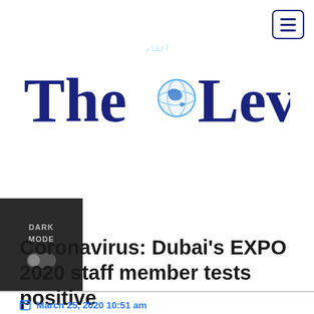[Figure (logo): The Levant newspaper logo with globe in the 'o' and Arabic text above]
Coronavirus: Dubai's EXPO 2020 staff member tests positive
March 25, 2020 10:51 am